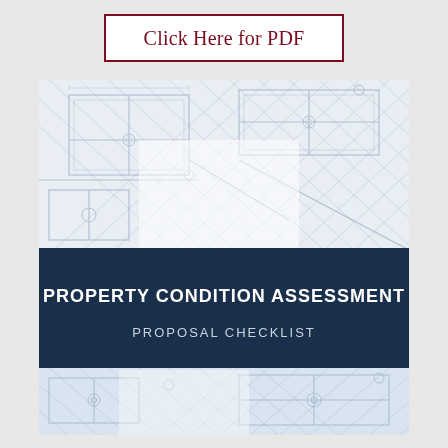Click Here for PDF
[Figure (illustration): Engineering blueprint/technical drawing background with grid lines, circles, and structural elements in light blue-gray tones, shown in two sections above and below a dark navy banner. The banner contains the document title 'PROPERTY CONDITION ASSESSMENT' in bold white text and subtitle 'PROPOSAL CHECKLIST' in lighter white text.]
PROPERTY CONDITION ASSESSMENT
PROPOSAL CHECKLIST